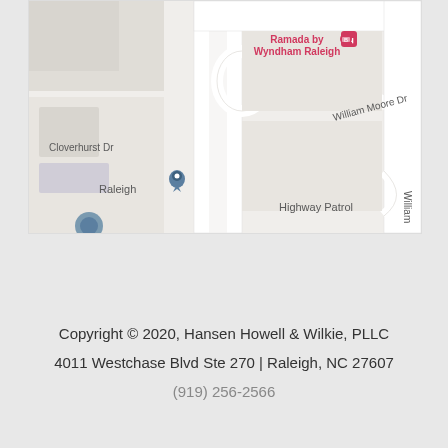[Figure (map): Google Maps screenshot showing streets near Ramada by Wyndham Raleigh, including Cloverhurst Dr, William Moore Dr, and Highway Patrol label. A location pin marker is visible near 'Raleigh' label.]
Copyright © 2020, Hansen Howell & Wilkie, PLLC
4011 Westchase Blvd Ste 270 | Raleigh, NC 27607
(919) 256-2566